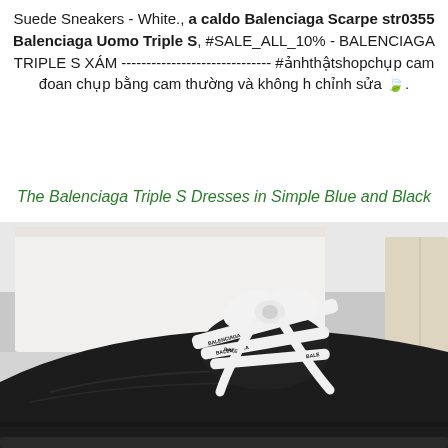Suede Sneakers - White., a caldo Balenciaga Scarpe str0355 Balenciaga Uomo Triple S, #SALE_ALL_10% - BALENCIAGA TRIPLE S XÁM ------------------------------ #ảnhthậtshopchụp cam đoan chụp bằng cam thường và không h chỉnh sửa 🍃.
The Balenciaga Triple S Dresses in Simple Blue and Black
[Figure (photo): Close-up photo of black Balenciaga Triple S sneakers with white laces featuring black text/pattern, photographed against a white cardboard box background.]